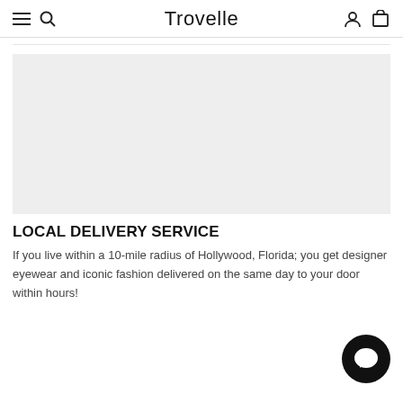Trovelle
[Figure (other): Light gray rectangular placeholder image area]
LOCAL DELIVERY SERVICE
If you live within a 10-mile radius of Hollywood, Florida; you get designer eyewear and iconic fashion delivered on the same day to your door within hours!